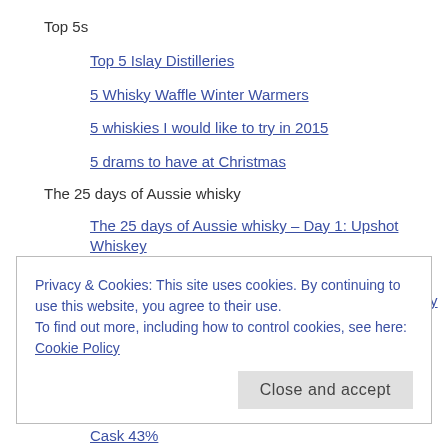Top 5s
Top 5 Islay Distilleries
5 Whisky Waffle Winter Warmers
5 whiskies I would like to try in 2015
5 drams to have at Christmas
The 25 days of Aussie whisky
The 25 days of Aussie whisky – Day 1: Upshot Whiskey 43%
Day 2: Hellyers Road Distillery 10yo Original Whisky 46.2%
The 25 days of Aussie whisky – Day 3: Starward Wine
Privacy & Cookies: This site uses cookies. By continuing to use this website, you agree to their use.
To find out more, including how to control cookies, see here: Cookie Policy
Close and accept
Cask 43%